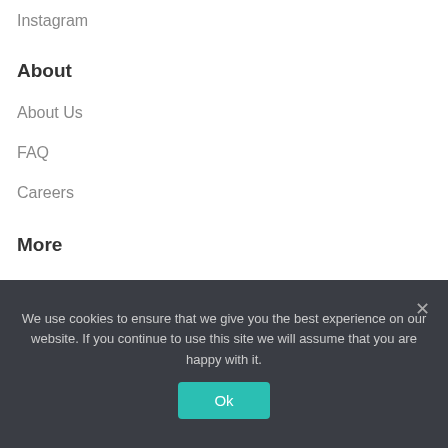Instagram
About
About Us
FAQ
Careers
More
Deal Alerts
Slickdeals Live
We use cookies to ensure that we give you the best experience on our website. If you continue to use this site we will assume that you are happy with it.
Ok